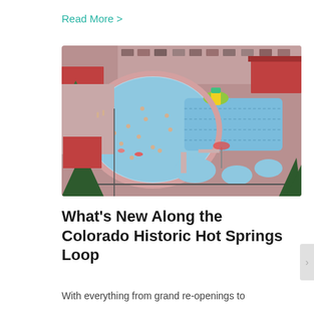Read More >
[Figure (photo): Aerial view of Colorado hot springs facility with multiple pools including a large oval pool with swimmers, a rectangular lap pool, and smaller soaking pools. Red/pink colored decking surrounds the pools. Parking lot and red-roofed buildings visible in background. Pine trees in foreground.]
What's New Along the Colorado Historic Hot Springs Loop
With everything from grand re-openings to